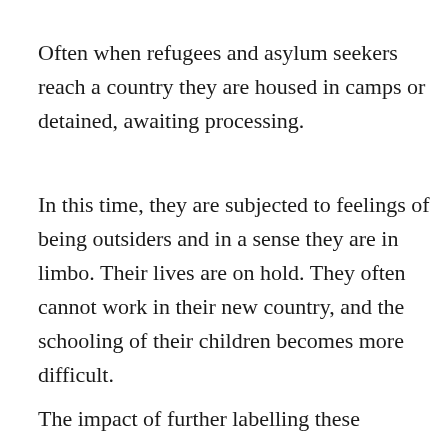Often when refugees and asylum seekers reach a country they are housed in camps or detained, awaiting processing.
In this time, they are subjected to feelings of being outsiders and in a sense they are in limbo. Their lives are on hold. They often cannot work in their new country, and the schooling of their children becomes more difficult.
The impact of further labelling these individuals, fli...